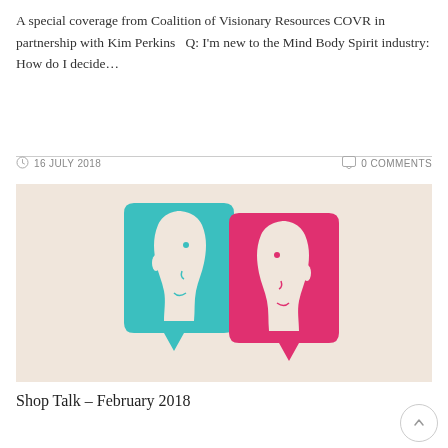A special coverage from Coalition of Visionary Resources COVR in partnership with Kim Perkins   Q: I'm new to the Mind Body Spirit industry: How do I decide…
16 JULY 2018   0 COMMENTS
[Figure (illustration): Two speech bubble silhouette heads facing each other — one teal/cyan facing right, one pink/magenta facing left — on a warm beige background, symbolizing conversation or dialogue.]
Shop Talk – February 2018